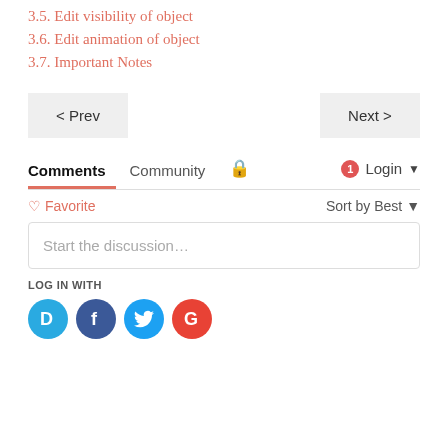3.5. Edit visibility of object
3.6. Edit animation of object
3.7. Important Notes
< Prev    Next >
Comments
Community  🔒  1  Login ▾
♡ Favorite    Sort by Best ▾
Start the discussion...
LOG IN WITH
[Figure (infographic): Social login icons: Disqus (blue circle D), Facebook (dark blue circle f), Twitter (light blue circle bird), Google (red circle G)]